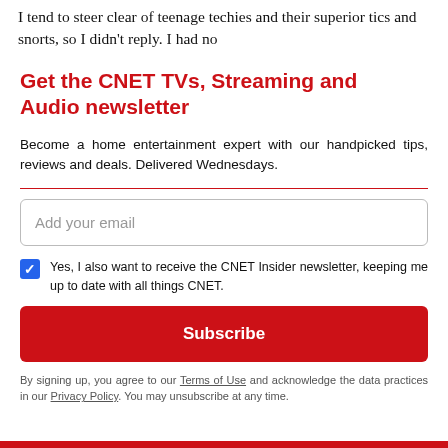I tend to steer clear of teenage techies and their superior tics and snorts, so I didn't reply. I had no
Get the CNET TVs, Streaming and Audio newsletter
Become a home entertainment expert with our handpicked tips, reviews and deals. Delivered Wednesdays.
Add your email
Yes, I also want to receive the CNET Insider newsletter, keeping me up to date with all things CNET.
Subscribe
By signing up, you agree to our Terms of Use and acknowledge the data practices in our Privacy Policy. You may unsubscribe at any time.